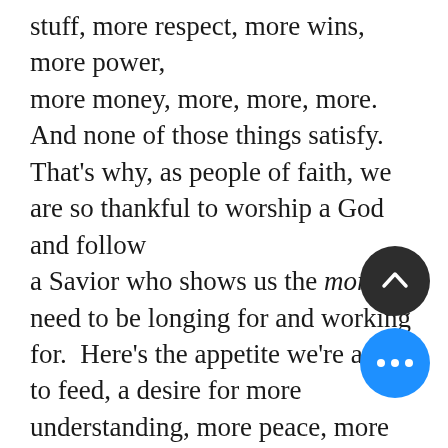stuff, more respect, more wins, more power, more money, more, more, more.  And none of those things satisfy. That's why, as people of faith, we are so thankful to worship a God and follow a Savior who shows us the more we need to be longing for and working for.  Here's the appetite we're asked to feed, a desire for more understanding, more peace, more faith, more compassion, more mercy, more godliness, more patience, more righteousness, more love. Contentment feeds our longing for God and everything God stands for.  This is the